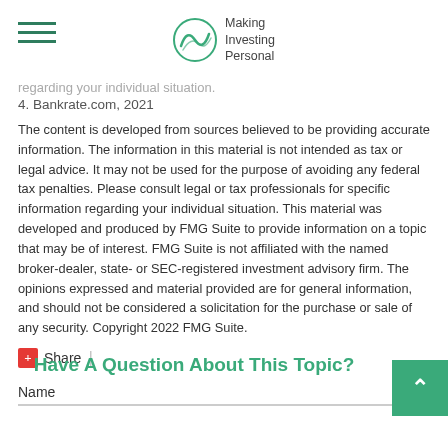Making Investing Personal
regarding your individual situation.
4. Bankrate.com, 2021
The content is developed from sources believed to be providing accurate information. The information in this material is not intended as tax or legal advice. It may not be used for the purpose of avoiding any federal tax penalties. Please consult legal or tax professionals for specific information regarding your individual situation. This material was developed and produced by FMG Suite to provide information on a topic that may be of interest. FMG Suite is not affiliated with the named broker-dealer, state- or SEC-registered investment advisory firm. The opinions expressed and material provided are for general information, and should not be considered a solicitation for the purchase or sale of any security. Copyright 2022 FMG Suite.
Share |
Have A Question About This Topic?
Name